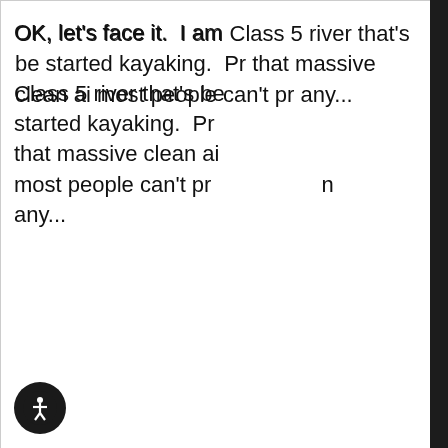OK, let's face it.  I am [a kayaker who has paddled a] Class 5 river that's be[en...I] started kayaking.  Pr[etty sure it's] that massive clean ai[r and the high that] most people can't pr[ovide on] any...
[Figure (screenshot): Dropdown navigation menu overlay on dark background with gold/yellow text showing menu items: KENNELS, DISCOVER, EXPLORE, SHOP, NEED HELP? (931) 738-4800, SEARCH THE STORE, CONTACT US, FIND A DEALER, ACCOUNT, SIGN IN, REGISTER]
SUPERCHARGED BUCKET CHALLENGE
Jim from Valley Mill K[ennels shares his] story. Look in the bac[kground and you'll see the] my sweet kicker ramp that I build for the shop [gran]d opening a long time ago! I was recently sent this video from a SUP student who was in